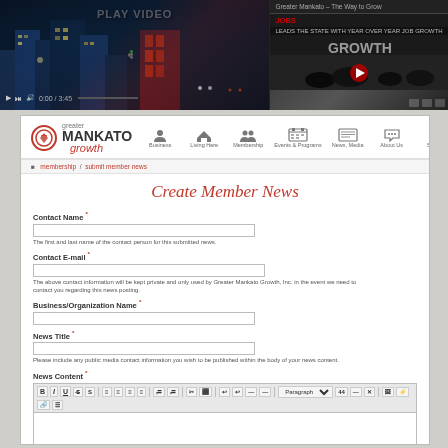[Figure (screenshot): Video player showing city night scene with 'PLAY VIDEO' label and a YouTube-style video panel on the right showing 'Greater Mankato – The Way to Grow' with 'LEADS THE STATE WITH YEAR OVER YEAR JOB GROWTH']
[Figure (screenshot): Greater Mankato Growth website showing 'Create Member News' form with fields for Contact Name, Contact E-mail, Business/Organization Name, News Title, and News Content with a rich text editor toolbar]
Create Member News
Contact Name *
The first and last name of the contact person for this submitted news.
Contact E-mail *
The above contact information will be kept private and only used by Greater Mankato Growth, Inc. in the event we need to contact you regarding this news posting.
Business/Organization Name *
News Title *
Please include any public media contact information you wish to be published within the body of your news content.
News Content *